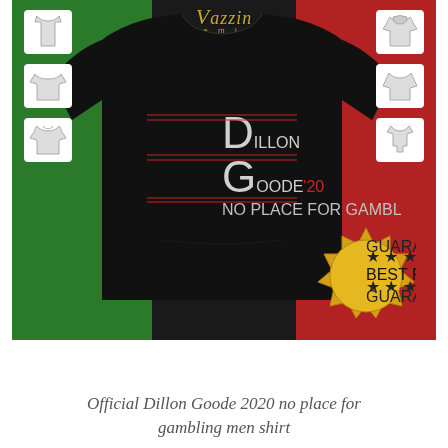[Figure (photo): Product photo of a black sweatshirt on an Italian-flag-colored background (green left, white center, red right). The sweatshirt has text reading 'DILLON GOODE '20 NO PLACE FOR GAMBLING MEN'. Small thumbnail versions of different shirt styles are shown on left and right sides. A gold 'GUARANTEE BEST PRICE GUARANTEE' badge is in the lower right. A 'Vazzin Premium' logo appears at the top center.]
Official Dillon Goode 2020 no place for gambling men shirt